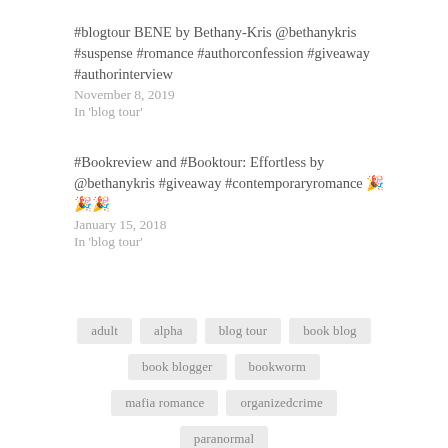#blogtour BENE by Bethany-Kris @bethanykris #suspense #romance #authorconfession #giveaway #authorinterview
November 8, 2019
In 'blog tour'
#Bookreview and #Booktour: Effortless by @bethanykris #giveaway #contemporaryromance 🎉🎉🎉
January 15, 2018
In 'blog tour'
adult
alpha
blog tour
book blog
book blogger
bookworm
mafia romance
organizedcrime
paranormal